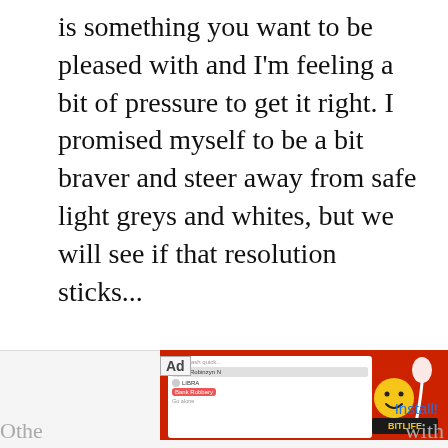is something you want to be pleased with and I'm feeling a bit of pressure to get it right. I promised myself to be a bit braver and steer away from safe light greys and whites, but we will see if that resolution sticks...
[Figure (screenshot): Advertisement banner at the bottom of the page. Shows 'Ad' label, a red banner with BitLife game imagery (yellow smiley face, sperm icon, game UI screenshot), text 'BitLife - Life Simulator' and an 'Install!' button link.]
Othe
with